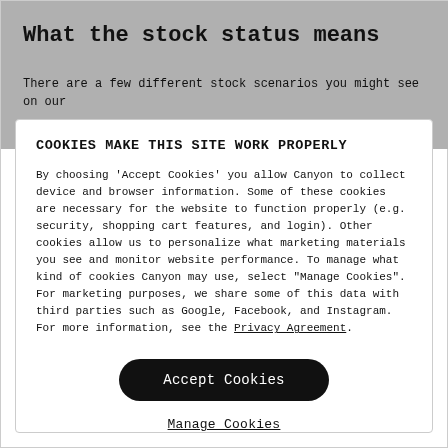What the stock status means
There are a few different stock scenarios you might see on our
COOKIES MAKE THIS SITE WORK PROPERLY
By choosing 'Accept Cookies' you allow Canyon to collect device and browser information. Some of these cookies are necessary for the website to function properly (e.g. security, shopping cart features, and login). Other cookies allow us to personalize what marketing materials you see and monitor website performance. To manage what kind of cookies Canyon may use, select "Manage Cookies". For marketing purposes, we share some of this data with third parties such as Google, Facebook, and Instagram. For more information, see the Privacy Agreement.
Accept Cookies
Manage Cookies